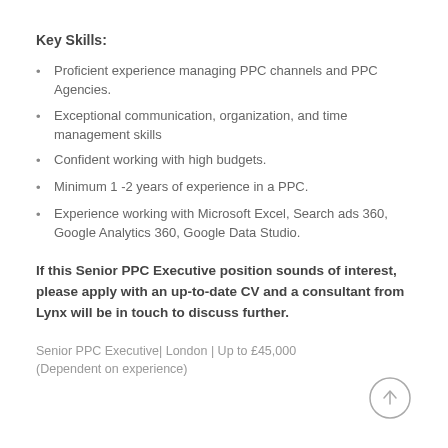Key Skills:
Proficient experience managing PPC channels and PPC Agencies.
Exceptional communication, organization, and time management skills
Confident working with high budgets.
Minimum 1 -2 years of experience in a PPC.
Experience working with Microsoft Excel, Search ads 360, Google Analytics 360, Google Data Studio.
If this Senior PPC Executive position sounds of interest, please apply with an up-to-date CV and a consultant from Lynx will be in touch to discuss further.
Senior PPC Executive| London | Up to £45,000 (Dependent on experience)